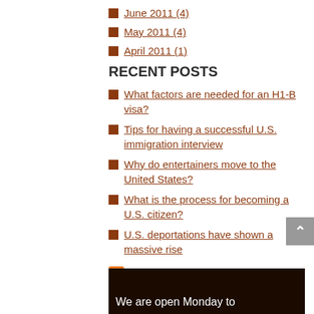June 2011 (4)
May 2011 (4)
April 2011 (1)
RECENT POSTS
What factors are needed for an H1-B visa?
Tips for having a successful U.S. immigration interview
Why do entertainers move to the United States?
What is the process for becoming a U.S. citizen?
U.S. deportations have shown a massive rise
Subscribe To This Blog's Feed
FindLaw Network
We are open Monday to